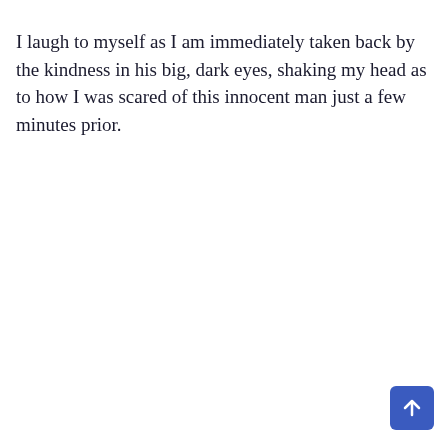I laugh to myself as I am immediately taken back by the kindness in his big, dark eyes, shaking my head as to how I was scared of this innocent man just a few minutes prior.
[Figure (other): A blue rounded square button with a white upward-pointing arrow, positioned in the bottom-right corner of the page.]